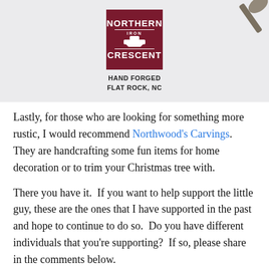[Figure (logo): Northern Iron Crescent logo — dark red badge with white text reading NORTHERN / IRON / CRESCENT with anvil graphic, below badge text: HAND FORGED / FLAT ROCK, NC. A metal nail appears in the top-right corner.]
Lastly, for those who are looking for something more rustic, I would recommend Northwood's Carvings.  They are handcrafting some fun items for home decoration or to trim your Christmas tree with.
There you have it.  If you want to help support the little guy, these are the ones that I have supported in the past and hope to continue to do so.  Do you have different individuals that you're supporting?  If so, please share in the comments below.